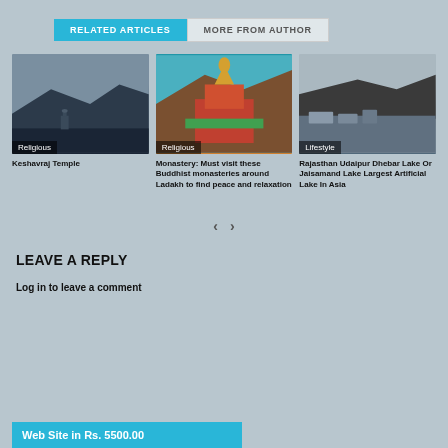RELATED ARTICLES
MORE FROM AUTHOR
[Figure (photo): Aerial view of Keshavraj Temple near water and mountains]
Religious
Keshavraj Temple
[Figure (photo): Buddhist monastery with golden stupa, colorful gardens against mountain backdrop]
Religious
Monastery: Must visit these Buddhist monasteries around Ladakh to find peace and relaxation
[Figure (photo): Dhebar Lake with dam structures and rocky mountains in Rajasthan]
Lifestyle
Rajasthan Udaipur Dhebar Lake Or Jaisamand Lake Largest Artificial Lake In Asia
LEAVE A REPLY
Log in to leave a comment
Web Site in Rs. 5500.00